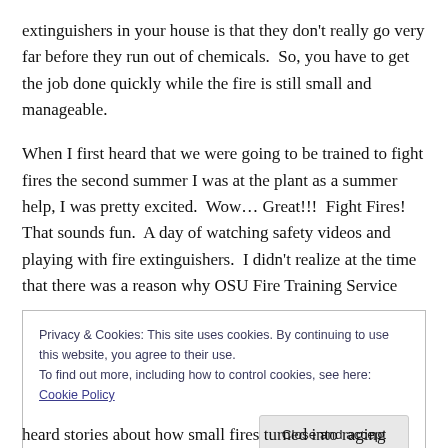extinguishers in your house is that they don't really go very far before they run out of chemicals.  So, you have to get the job done quickly while the fire is still small and manageable.
When I first heard that we were going to be trained to fight fires the second summer I was at the plant as a summer help, I was pretty excited.  Wow… Great!!!  Fight Fires!  That sounds fun.  A day of watching safety videos and playing with fire extinguishers.  I didn't realize at the time that there was a reason why OSU Fire Training Service
Privacy & Cookies: This site uses cookies. By continuing to use this website, you agree to their use.
To find out more, including how to control cookies, see here: Cookie Policy
Close and accept
heard stories about how small fires turned into raging